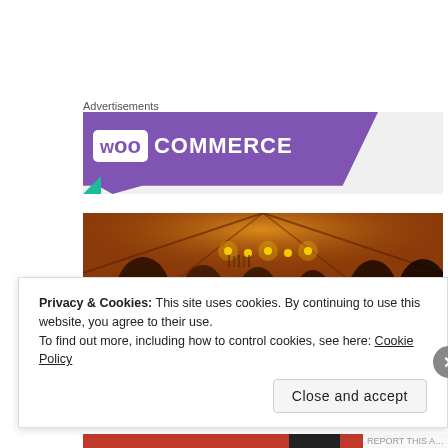Advertisements
[Figure (logo): WooCommerce advertisement banner with purple background and white WooCommerce logo text]
[Figure (photo): Interior of a bar/restaurant with warm orange lighting, wooden ceiling, and a group of people gathered near the bar area]
Privacy & Cookies: This site uses cookies. By continuing to use this website, you agree to their use.
To find out more, including how to control cookies, see here: Cookie Policy
Close and accept